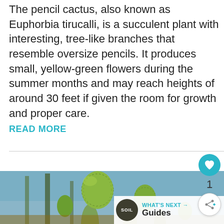The pencil cactus, also known as Euphorbia tirucalli, is a succulent plant with interesting, tree-like branches that resemble oversize pencils. It produces small, yellow-green flowers during the summer months and may reach heights of around 30 feet if given the room for growth and proper care.
READ MORE
[Figure (photo): Close-up photograph of cactus plants with round, spiny green buds in what appears to be a greenhouse setting.]
WHAT'S NEXT → Guides